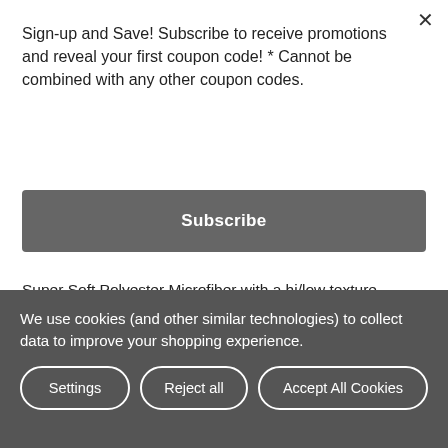Sign-up and Save! Subscribe to receive promotions and reveal your first coupon code! * Cannot be combined with any other coupon codes.
Subscribe
Super Soft Polyester Microfiber with a hi/low texture. Simple Spaces accent rugs are for indoor use only and machine washable. You're going to love how soft these beautiful rugs feel under your bare feet as you step out of your bed. Simply machine wash in cold water, (do not use bleach) on a gentle cycle and dry flat; re-shape as necessary.
We use cookies (and other similar technologies) to collect data to improve your shopping experience.
Settings
Reject all
Accept All Cookies